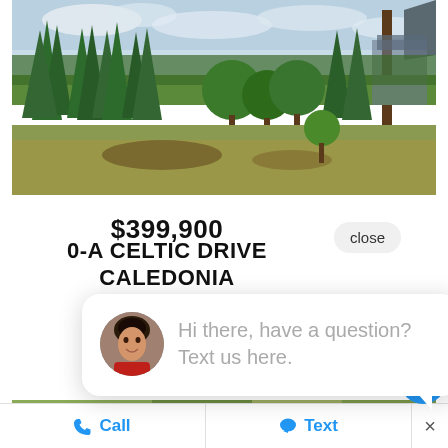[Figure (photo): Outdoor photo of a grassy lot with tall evergreen trees, a mix of deciduous trees, a street sign post visible on the right, and a building partially visible in the background under a cloudy sky.]
$399,900
0-A CELTIC DRIVE
CALEDONIA
close
Hi there, have a question? Text us here.
[Figure (map): Aerial/satellite map view showing agricultural fields with a red rectangular boundary marking a parcel of land.]
Call
Text
×